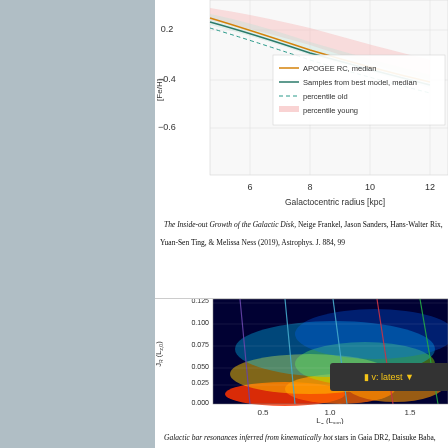[Figure (continuous-plot): Top portion of a line chart showing [Fe/H] vs Galactoentric radius [kpc], with legend entries: APOGEE RC, median (orange line); Samples from best model, median (teal line); percentile old (teal dashed); percentile young (pink shaded). X-axis shows values 6, 8, 10, 12. Y-axis shows 0.2, -0.4, -0.6.]
The Inside-out Growth of the Galactic Disk, Neige Frankel, Jason Sanders, Hans-Walter Rix, Yuan-Sen Ting, & Melissa Ness (2019), Astrophys. J. 884, 99
[Figure (continuous-plot): Density scatter plot of J_R (L_{z,0}) vs L_z (L_sun?) showing a colormap from blue (low) to red/yellow (high density). Several diagonal colored lines overplotted. Y-axis: 0.000 to 0.125, X-axis: 0.5 to 1.5+.]
Galactic bar resonances inferred from kinematically hot stars in Gaia DR2, Daisuke Baba, Jason A. S. Hunt, Ralph Schönrich, Ioana Ciucā, ... Mon. Not. R. Astron. Soc. 728